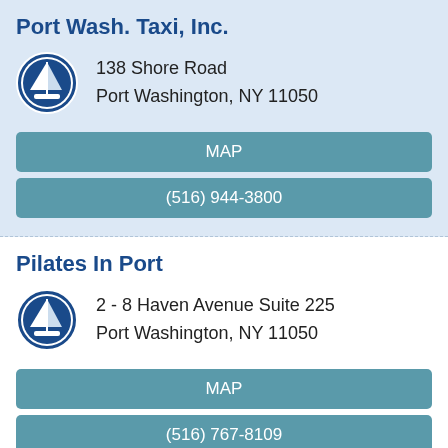Port Wash. Taxi, Inc.
138 Shore Road
Port Washington, NY 11050
MAP
(516) 944-3800
Pilates In Port
2 - 8 Haven Avenue  Suite 225
Port Washington, NY 11050
MAP
(516) 767-8109
Port Ba...